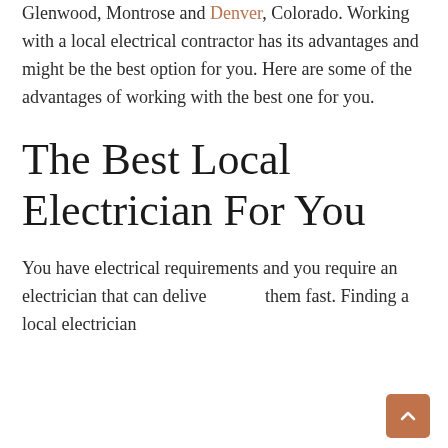Glenwood, Montrose and Denver, Colorado. Working with a local electrical contractor has its advantages and might be the best option for you. Here are some of the advantages of working with the best one for you.
The Best Local Electrician For You
You have electrical requirements and you require an electrician that can deliver them fast. Finding a local electrician